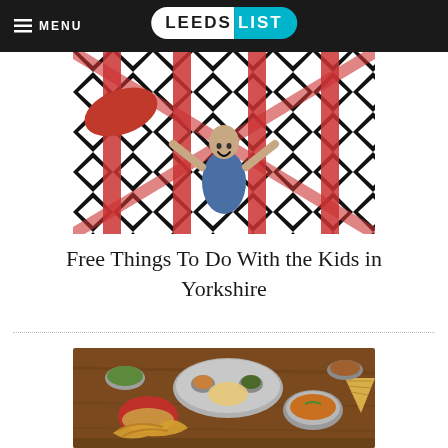MENU | LEEDS LIST
[Figure (photo): Child playing in front of a bold black and white geometric pattern with red structural beams, arms raised and smiling]
Free Things To Do With the Kids in Yorkshire
[Figure (photo): Spread of Indian food including a red burger bun with fried chicken and onion rings, various curry bowls, naan bread, and chutneys on a wooden table]